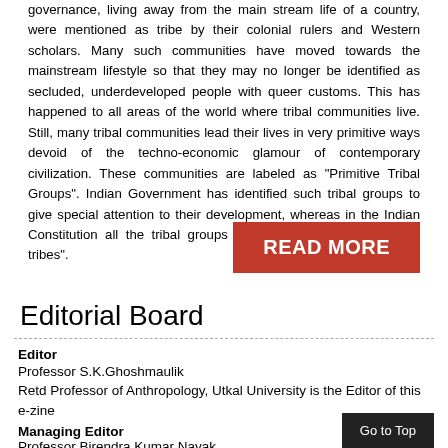governance, living away from the main stream life of a country, were mentioned as tribe by their colonial rulers and Western scholars. Many such communities have moved towards the mainstream lifestyle so that they may no longer be identified as secluded, underdeveloped people with queer customs. This has happened to all areas of the world where tribal communities live. Still, many tribal communities lead their lives in very primitive ways devoid of the techno-economic glamour of contemporary civilization. These communities are labeled as "Primitive Tribal Groups". Indian Government has identified such tribal groups to give special attention to their development, whereas in the Indian Constitution all the tribal groups are recognized as "scheduled tribes".
[Figure (other): Red button labeled READ MORE]
Editorial Board
Editor
Professor S.K.Ghoshmaulik
Retd Professor of Anthropology, Utkal University is the Editor of this e-zine
Managing Editor
Professor Birendra Kumar Nayak